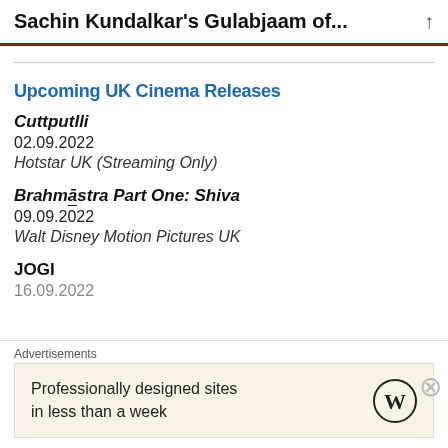Sachin Kundalkar's Gulabjaam of...
Upcoming UK Cinema Releases
Cuttputlli
02.09.2022
Hotstar UK (Streaming Only)
Brahmāstra Part One: Shiva
09.09.2022
Walt Disney Motion Pictures UK
JOGI
16.09.2022
Advertisements
Professionally designed sites in less than a week